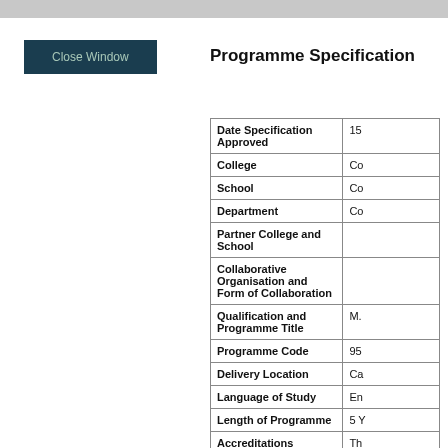Close Window
Programme Specification
| Field | Value |
| --- | --- |
| Date Specification Approved | 15... |
| College | Co... |
| School | Co... |
| Department | Co... |
| Partner College and School |  |
| Collaborative Organisation and Form of Collaboration |  |
| Qualification and Programme Title | M.... |
| Programme Code | 95... |
| Delivery Location | Ca... |
| Language of Study | En... |
| Length of Programme | 5 Y... |
| Accreditations | Th... |
|  | "W... five... |